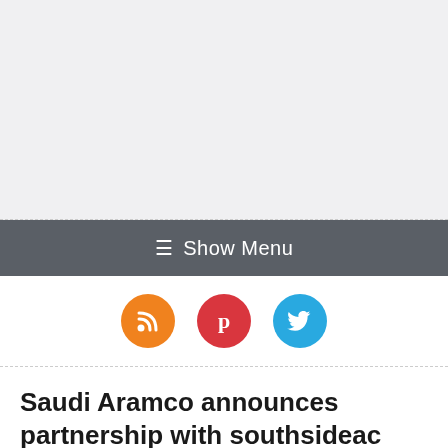[Figure (other): Gray header banner area, light gray background with dashed bottom border]
≡ Show Menu
[Figure (infographic): Three social media icon buttons: RSS (orange), Pinterest (red), Twitter (blue)]
Saudi Aramco announces partnership with southsideac (SAEV)